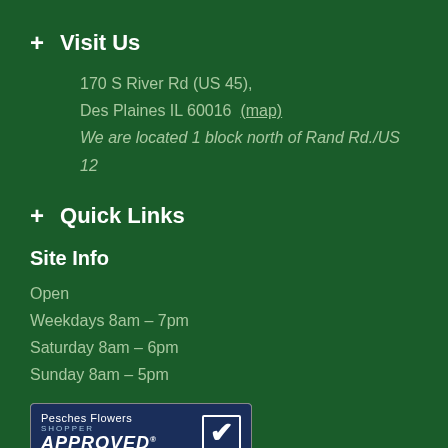+ Visit Us
170 S River Rd (US 45),
Des Plaines IL 60016  (map)
We are located 1 block north of Rand Rd./US 12
+ Quick Links
Site Info
Open
Weekdays 8am – 7pm
Saturday 8am – 6pm
Sunday 8am – 5pm
[Figure (other): Pesches Flowers Shopper Approved badge with 542 Ratings and 5 stars]